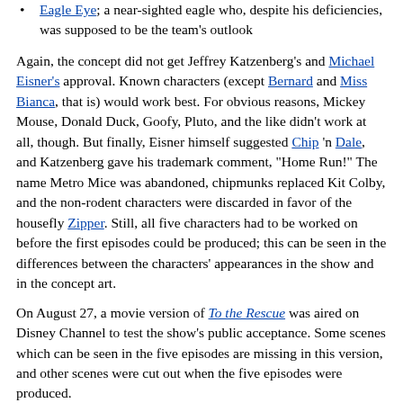Eagle Eye; a near-sighted eagle who, despite his deficiencies, was supposed to be the team's outlook
Again, the concept did not get Jeffrey Katzenberg's and Michael Eisner's approval. Known characters (except Bernard and Miss Bianca, that is) would work best. For obvious reasons, Mickey Mouse, Donald Duck, Goofy, Pluto, and the like didn't work at all, though. But finally, Eisner himself suggested Chip 'n Dale, and Katzenberg gave his trademark comment, "Home Run!" The name Metro Mice was abandoned, chipmunks replaced Kit Colby, and the non-rodent characters were discarded in favor of the housefly Zipper. Still, all five characters had to be worked on before the first episodes could be produced; this can be seen in the differences between the characters' appearances in the show and in the concept art.
On August 27, a movie version of To the Rescue was aired on Disney Channel to test the show's public acceptance. Some scenes which can be seen in the five episodes are missing in this version, and other scenes were cut out when the five episodes were produced.
On March 5, 1989, season 1 premiered on Disney Channel with Piratsy Under the Seas as the first episode. Later the same year, the entire show was added to the Disney Afternoon line-up. On November 19, 1990, They Shoot Dogs, Don't They? was the last